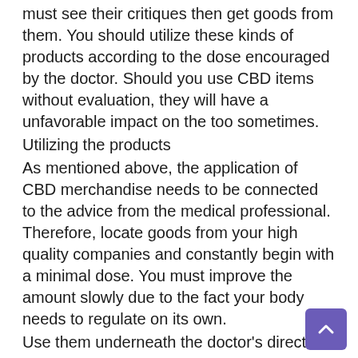must see their critiques then get goods from them. You should utilize these kinds of products according to the dose encouraged by the doctor. Should you use CBD items without evaluation, they will have a unfavorable impact on the too sometimes.
Utilizing the products
As mentioned above, the application of CBD merchandise needs to be connected to the advice from the medical professional. Therefore, locate goods from your high quality companies and constantly begin with a minimal dose. You must improve the amount slowly due to the fact your body needs to regulate on its own.
Use them underneath the doctor's direction
Also, it is advised that you need to use merchandise of CBD only when watched with the medical doctor. The products are going to have adverse reactions